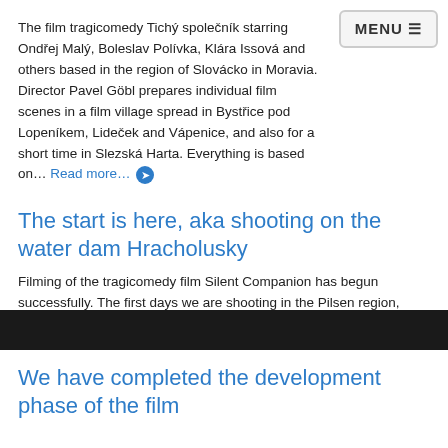MENU
The film tragicomedy Tichý společník starring Ondřej Malý, Boleslav Polívka, Klára Issová and others based in the region of Slovácko in Moravia. Director Pavel Göbl prepares individual film scenes in a film village spread in Bystřice pod Lopeníkem, Lideček and Vápenice, and also for a short time in Slezská Harta. Everything is based on… Read more…
The start is here, aka shooting on the water dam Hracholusky
Filming of the tragicomedy film Silent Companion has begun successfully. The first days we are shooting in the Pilsen region, because of the weather and underwater conditions, all the other days we will be in Moravia. Diving equipment is ready! The meteorologist will sink… Read more…
We have completed the development phase of the film